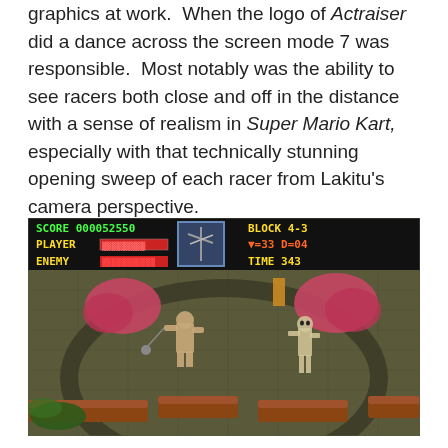graphics at work.  When the logo of Actraiser did a dance across the screen mode 7 was responsible.  Most notably was the ability to see racers both close and off in the distance with a sense of realism in Super Mario Kart, especially with that technically stunning opening sweep of each racer from Lakitu's camera perspective.
[Figure (screenshot): Screenshot of a SNES video game (appears to be Super Ghouls 'n Ghosts or similar). The HUD shows: SCORE 000052550, PLAYER health bar, ENEMY health bar, BLOCK 4-3, Y=33 D=04, TIME 343. The game scene shows a skeleton warrior enemy on a dark dungeon-like tiled floor with pink/red bush decorations and brown platform structures.]